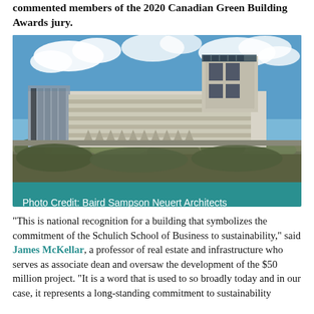commented members of the 2020 Canadian Green Building Awards jury.
[Figure (photo): Exterior photograph of a large modern institutional building with white angular concrete facade, large glass windows, solar panels visible on the roof, and green vegetation in the foreground, under a partly cloudy blue sky. Photo Credit: Baird Sampson Neuert Architects]
Photo Credit: Baird Sampson Neuert Architects
“This is national recognition for a building that symbolizes the commitment of the Schulich School of Business to sustainability,” said James McKellar, a professor of real estate and infrastructure who serves as associate dean and oversaw the development of the $50 million project. “It is a word that is used to so broadly today and in our case, it represents a long-standing commitment to sustainability